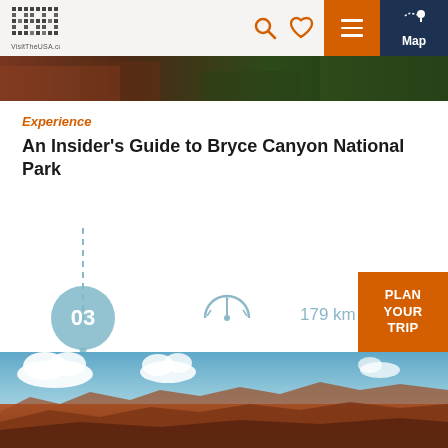[Figure (screenshot): VisitTheUSA.co.uk website header with logo (pixelated USA text), search icon, heart icon, orange hamburger menu button, and dark navy Map button with location pin icon]
[Figure (photo): Narrow landscape banner showing dark reddish-brown rock formations and dark green trees — appears to be a canyon scene]
Experience
An Insider's Guide to Bryce Canyon National Park
[Figure (infographic): Step 03 marker on a dashed vertical itinerary line, with distance icon showing 179 km and a car icon showing 2 hours by car]
[Figure (photo): Bottom landscape photo showing blue sky with white clouds above red/brown canyon rock formations]